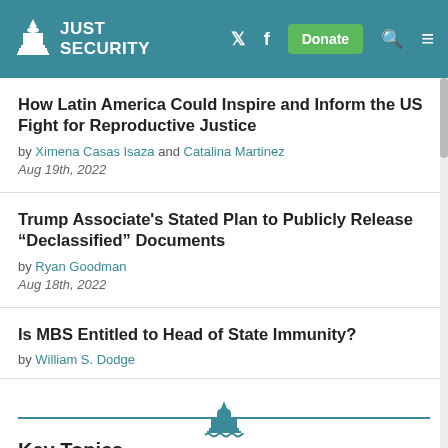JUST SECURITY
How Latin America Could Inspire and Inform the US Fight for Reproductive Justice
by Ximena Casas Isaza and Catalina Martinez
Aug 19th, 2022
Trump Associate's Stated Plan to Publicly Release “Declassified” Documents
by Ryan Goodman
Aug 18th, 2022
Is MBS Entitled to Head of State Immunity?
by William S. Dodge
[Figure (logo): Just Security capitol building divider logo in teal]
Key Topics
Or scroll within to view all topics